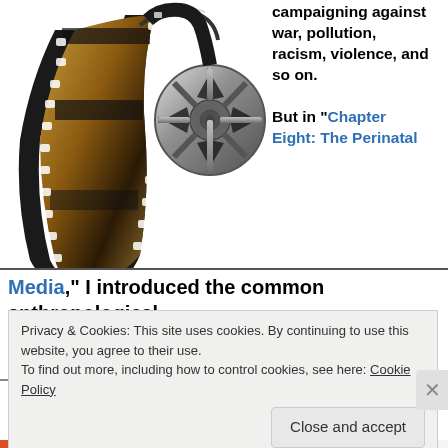[Figure (illustration): Film reel with filmstrip curling around it showing landscape/fire imagery]
campaigning against war, pollution, racism, violence, and so on.

But in “Chapter Eight: The Perinatal Media,” I introduced the common anthropological tenet that the projective systems of a culture – that is
Privacy & Cookies: This site uses cookies. By continuing to use this website, you agree to their use.
To find out more, including how to control cookies, see here: Cookie Policy
Close and accept